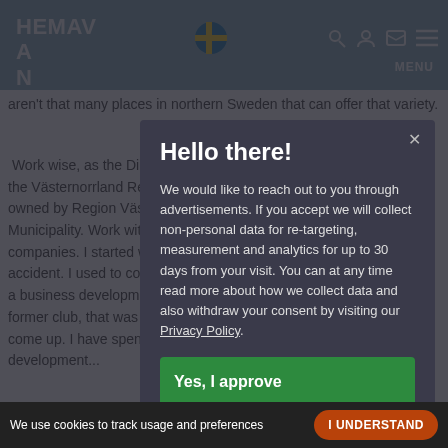HEMAVAN TÄRNABY
aren't that many places in northern Sweden that can offer that variety.
Work wise, as the CEO of Aktiv Hälsa, the Västernorrland Region's Outdoor Alliance co-owned by Region Västernorrland and Sundsvall Municipality. Work with the local government and private companies. I started working there pretty much by accident. I used to compete myself until 2002, then I did a business development project together with my former club, that was how the opportunity come up. I have spent seven years doing development...
Hello there!
We would like to reach out to you through advertisements. If you accept we will collect non-personal data for re-targeting, measurement and analytics for up to 30 days from your visit. You can at any time read more about how we collect data and also withdraw your consent by visiting our Privacy Policy.
Yes, I approve
No, thanks
We use cookies to track usage and preferences   I UNDERSTAND